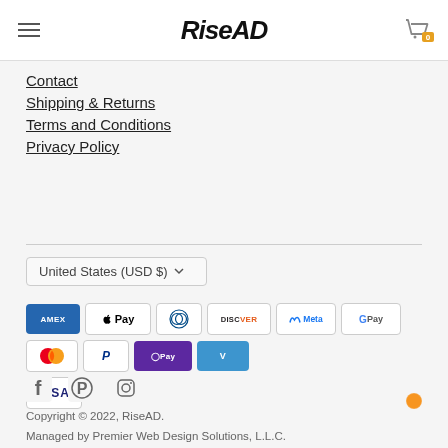RiseAD
Contact
Shipping & Returns
Terms and Conditions
Privacy Policy
United States (USD $)
[Figure (other): Payment method icons: AMEX, Apple Pay, Diners Club, Discover, Meta Pay, Google Pay, Mastercard, PayPal, OPay, Venmo, Visa]
[Figure (other): Social media icons: Facebook, Pinterest, Instagram]
Copyright © 2022, RiseAD.
Managed by Premier Web Design Solutions, L.L.C.